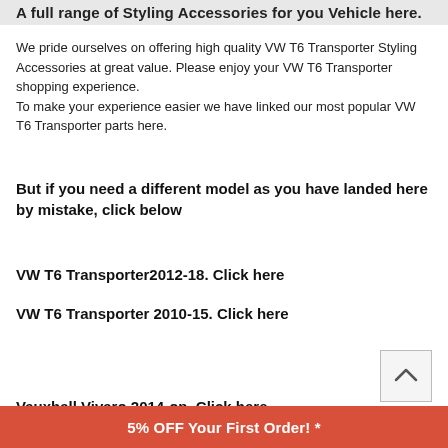A full range of Styling Accessories for you Vehicle here.
We pride ourselves on offering high quality VW T6 Transporter Styling Accessories at great value. Please enjoy your VW T6 Transporter shopping experience.
To make your experience easier we have linked our most popular VW T6 Transporter parts here.
But if you need a different model as you have landed here by mistake, click below
VW T6 Transporter2012-18. Click here
VW T6 Transporter 2010-15. Click here
Vauxhall Vivaro 2014-on. Click here
5% OFF Your First Order! *